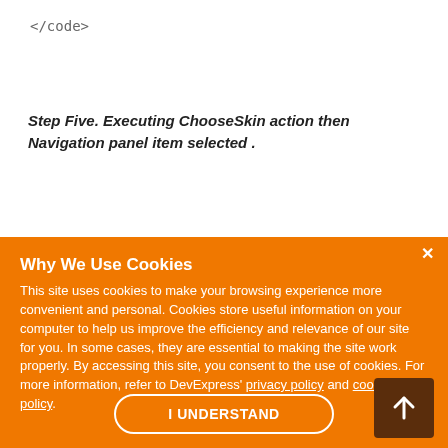</code>
Step Five. Executing ChooseSkin action then Navigation panel item selected .
In step four we add an information about skin to Navigation panel items and selected them, and in the previous step we assign item in...
[Figure (screenshot): Cookie consent overlay with orange background. Title: 'Why We Use Cookies'. Body text describes cookie usage policy with links to privacy policy and cookie policy. Contains an 'I UNDERSTAND' button and a brown scroll-to-top button with upward arrow. Close button (×) in top right.]